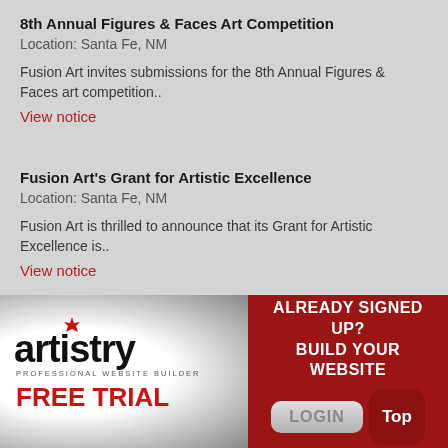8th Annual Figures & Faces Art Competition
Location: Santa Fe, NM
Fusion Art invites submissions for the 8th Annual Figures & Faces art competition..
View notice
Fusion Art's Grant for Artistic Excellence
Location: Santa Fe, NM
Fusion Art is thrilled to announce that its Grant for Artistic Excellence is..
View notice
[Figure (infographic): Artistry Professional Website Builder advertisement banner. Left side has white-to-dark gradient background with artistry logo featuring a red maple leaf, 'PROFESSIONAL WEBSITE BUILDER' subtitle, and 'FREE TRIAL' in red bold text. Right side has dark red background with 'ALREADY SIGNED UP? BUILD YOUR WEBSITE' in white text, a LOGIN button, and a Top button.]